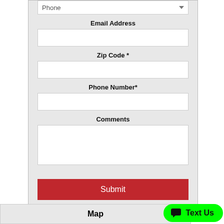Phone
Email Address
Zip Code *
Phone Number*
Comments
Submit
Map
Text Us